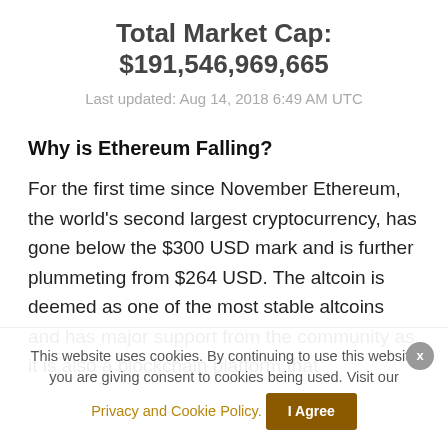Total Market Cap: $191,546,969,665
Last updated: Aug 14, 2018 6:49 AM UTC
Why is Ethereum Falling?
For the first time since November Ethereum, the world's second largest cryptocurrency, has gone below the $300 USD mark and is further plummeting from $264 USD. The altcoin is deemed as one of the most stable altcoins and has major support from the community as it is also a blockchain platform that
This website uses cookies. By continuing to use this website you are giving consent to cookies being used. Visit our Privacy and Cookie Policy.